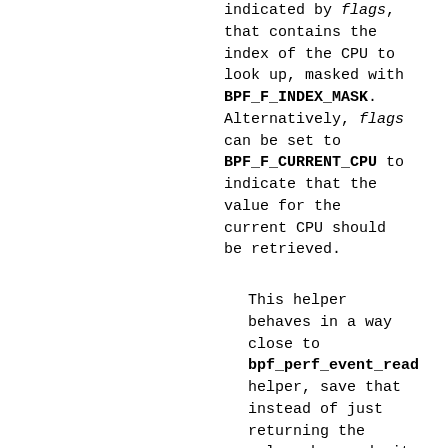indicated by flags, that contains the index of the CPU to look up, masked with BPF_F_INDEX_MASK. Alternatively, flags can be set to BPF_F_CURRENT_CPU to indicate that the value for the current CPU should be retrieved.
This helper behaves in a way close to bpf_perf_event_read helper, save that instead of just returning the value observed, it fills the buf structure. This